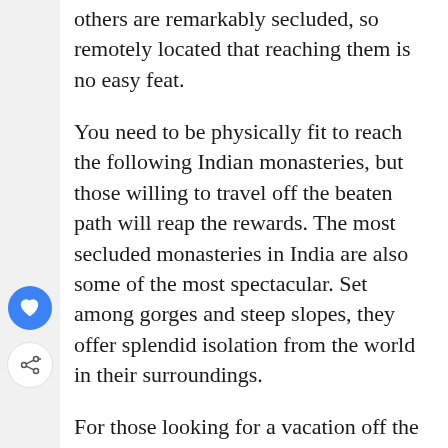others are remarkably secluded, so remotely located that reaching them is no easy feat.
You need to be physically fit to reach the following Indian monasteries, but those willing to travel off the beaten path will reap the rewards. The most secluded monasteries in India are also some of the most spectacular. Set among gorges and steep slopes, they offer splendid isolation from the world in their surroundings.
For those looking for a vacation off the beaten path, we recommend the following secluded monasteries. Many provide good accommodation facilities for tourists. The journey